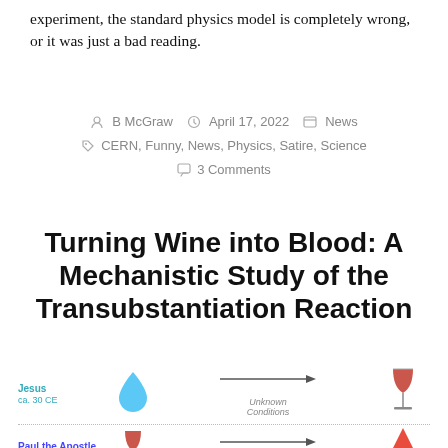experiment, the standard physics model is completely wrong, or it was just a bad reading.
By B McGraw  April 17, 2022  News
CERN, Funny, News, Physics, Satire, Science
3 Comments
Turning Wine into Blood: A Mechanistic Study of the Transubstantiation Reaction
[Figure (infographic): Infographic showing two rows. Row 1: Jesus ca. 30 CE, water drop emoji, arrow labeled 'Unknown Conditions', red wine glass emoji. Row 2 (partial): Paul the Apostle ca. 55 CE, red wine glass emoji, arrow labeled 'Grace', red triangle emoji.]